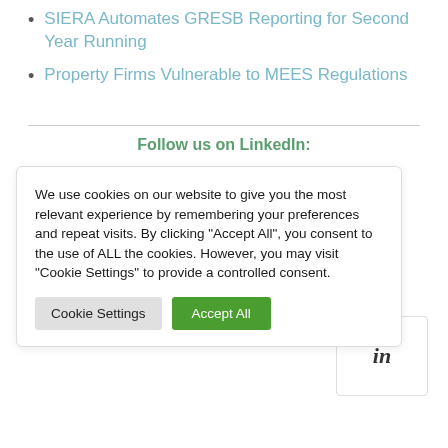SIERA Automates GRESB Reporting for Second Year Running
Property Firms Vulnerable to MEES Regulations
Follow us on LinkedIn:
We use cookies on our website to give you the most relevant experience by remembering your preferences and repeat visits. By clicking “Accept All”, you consent to the use of ALL the cookies. However, you may visit “Cookie Settings” to provide a controlled consent.